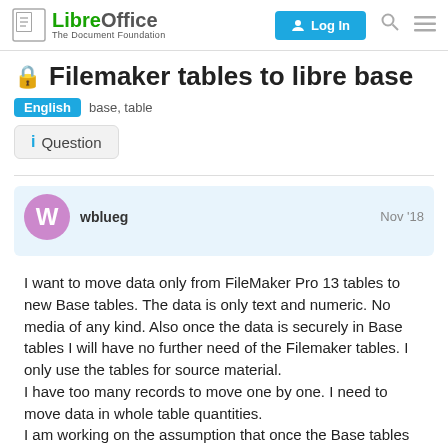LibreOffice The Document Foundation | Log In
Filemaker tables to libre base
English  base, table
Question
wblueg  Nov '18
I want to move data only from FileMaker Pro 13 tables to new Base tables. The data is only text and numeric. No media of any kind. Also once the data is securely in Base tables I will have no further need of the Filemaker tables. I only use the tables for source material.
I have too many records to move one by one. I need to move data in whole table quantities.
I am working on the assumption that once the Base tables are established I will have normal Base functionality. I intend to use Libre applications, and others, for the surpassing of my work.